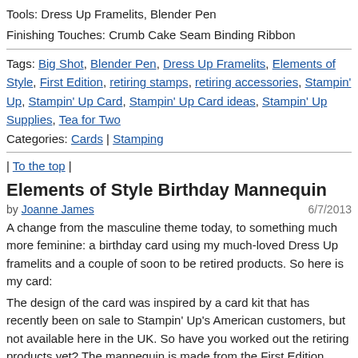Tools: Dress Up Framelits, Blender Pen
Finishing Touches: Crumb Cake Seam Binding Ribbon
Tags: Big Shot, Blender Pen, Dress Up Framelits, Elements of Style, First Edition, retiring stamps, retiring accessories, Stampin' Up, Stampin' Up Card, Stampin' Up Card ideas, Stampin' Up Supplies, Tea for Two
Categories: Cards | Stamping
| To the top |
Elements of Style Birthday Mannequin
by Joanne James  6/7/2013
A change from the masculine theme today, to something much more feminine: a birthday card using my much-loved Dress Up framelits and a couple of soon to be retired products. So here is my card:
The design of the card was inspired by a card kit that has recently been on sale to Stampin' Up's American customers, but not available here in the UK. So have you worked out the retiring products yet? The mannequin is made from the First Edition Specialty Designer Series Paper, which has been partially overstamped with the floral stamp from the Elements of Style